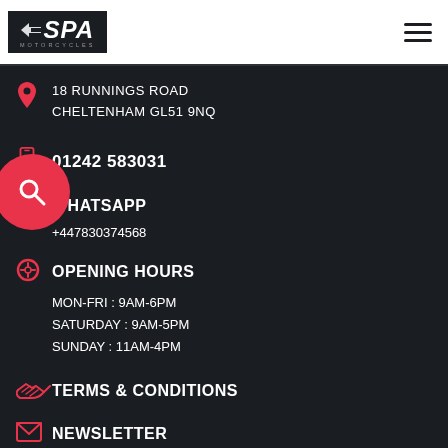[Figure (logo): SPA Motorcycles logo on dark background with wing graphic]
18 RUNNINGS ROAD
CHELTENHAM GL51 9NQ
01242 583031
WHATSAPP
+447830374568
OPENING HOURS
MON-FRI : 9AM-6PM
SATURDAY : 9AM-5PM
SUNDAY : 11AM-4PM
TERMS & CONDITIONS
NEWSLETTER